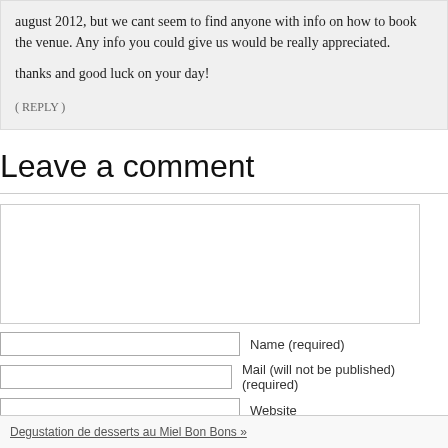august 2012, but we cant seem to find anyone with info on how to book the venue. Any info you could give us would be really appreciated.
thanks and good luck on your day!
( REPLY )
Leave a comment
[comment textarea]
Name (required)
Mail (will not be published) (required)
Website
Submit
Degustation de desserts au Miel Bon Bons »